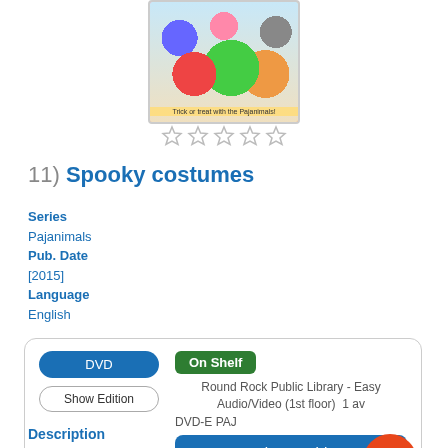[Figure (photo): DVD cover image showing colorful puppet characters (Pajanimals) in costumes, with caption 'Trick or treat with the Pajanimals!']
[Figure (other): Five empty star rating icons]
11) Spooky costumes
Series
Pajanimals
Pub. Date
[2015]
Language
English
| DVD | On Shelf |
| Show Edition | Round Rock Public Library - Easy Audio/Video (1st floor) 1 av |
|  | DVD-E PAJ |
|  | Place Hold |
Description